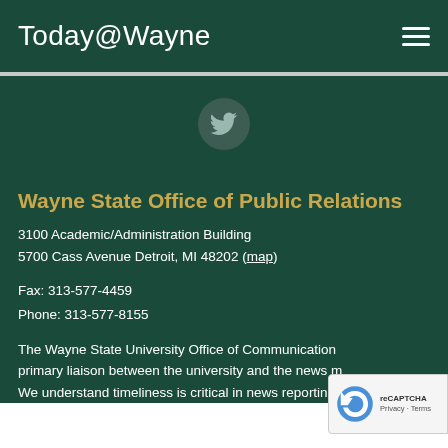Today@Wayne
[Figure (logo): Twitter bird icon in a dark circle]
Wayne State Office of Public Relations
3100 Academic/Administration Building
5700 Cass Avenue Detroit, MI 48202 (map)
Fax: 313-577-4459
Phone: 313-577-8155
The Wayne State University Office of Communication… primary liaison between the university and the news m… We understand timeliness is critical in news reporting. Our